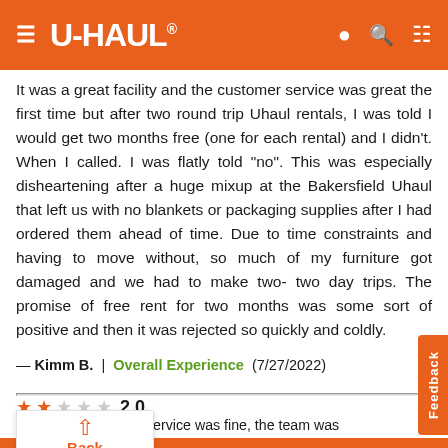U-HAUL® navigation header
It was a great facility and the customer service was great the first time but after two round trip Uhaul rentals, I was told I would get two months free (one for each rental) and I didn't. When I called. I was flatly told "no". This was especially disheartening after a huge mixup at the Bakersfield Uhaul that left us with no blankets or packaging supplies after I had ordered them ahead of time. Due to time constraints and having to move without, so much of my furniture got damaged and we had to make two- two day trips. The promise of free rent for two months was some sort of positive and then it was rejected so quickly and coldly.
— Kimm B.  |  Overall Experience  (7/27/2022)
2.0 — service was fine, the team was understaffed. Therefore, e time to get the rental. Z. (7/26/2022)